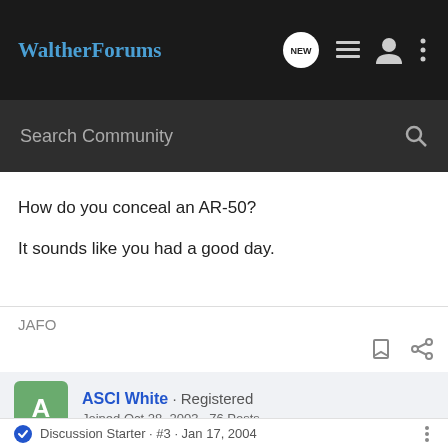WaltherForums
Search Community
How do you conceal an AR-50?

It sounds like you had a good day.
JAFO
ASCI White · Registered
Joined Oct 28, 2003 · 76 Posts
Discussion Starter · #3 · Jan 17, 2004